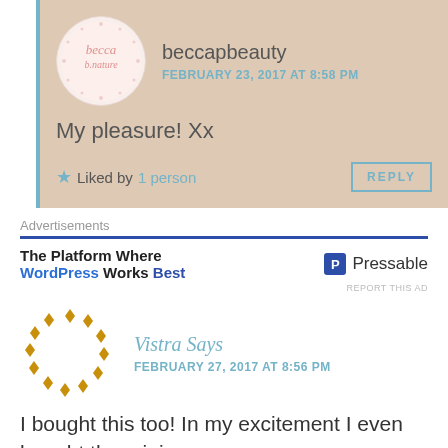[Figure (logo): Circular avatar with 'becca b.nature' handwritten text in pink]
beccapbeauty
FEBRUARY 23, 2017 AT 8:58 PM
My pleasure! Xx
★ Liked by 1 person
REPLY
Advertisements
The Platform Where WordPress Works Best
[Figure (logo): Pressable logo with blue P icon]
REPORT THIS AD
[Figure (logo): Vistra circular diamond-pattern logo in golden/amber color]
Vistra Says
FEBRUARY 27, 2017 AT 8:56 PM
I bought this too! In my excitement I even bought the mini-